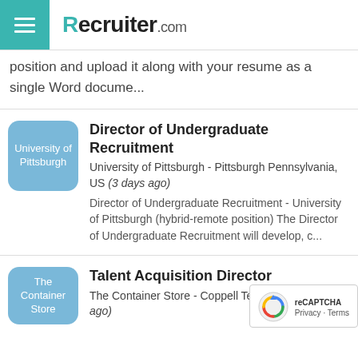Recruiter.com
position and upload it along with your resume as a single Word docume...
Director of Undergraduate Recruitment - University of Pittsburgh - Pittsburgh Pennsylvania, US (3 days ago) Director of Undergraduate Recruitment - University of Pittsburgh (hybrid-remote position) The Director of Undergraduate Recruitment will develop, c...
Talent Acquisition Director - The Container Store - Coppell Texas US (3 days ago)